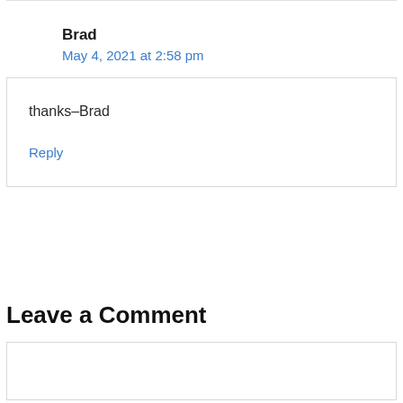Brad
May 4, 2021 at 2:58 pm
thanks–Brad
Reply
Leave a Comment